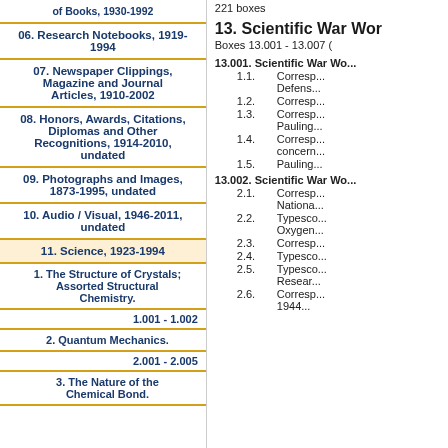of Books, 1930-1992
06. Research Notebooks, 1919-1994
07. Newspaper Clippings, Magazine and Journal Articles, 1910-2002
08. Honors, Awards, Citations, Diplomas and Other Recognitions, 1914-2010, undated
09. Photographs and Images, 1873-1995, undated
10. Audio / Visual, 1946-2011, undated
11. Science, 1923-1994
1. The Structure of Crystals; Assorted Structural Chemistry.
1.001 - 1.002
2. Quantum Mechanics.
2.001 - 2.005
3. The Nature of the Chemical Bond.
221 boxes
13. Scientific War Wor...
Boxes 13.001 - 13.007 (
| ID | Label | Details |
| --- | --- | --- |
| 13.001. | Scientific War Wo... |  |
| 1.1. |  | Corresp... Defens... |
| 1.2. |  | Corresp... |
| 1.3. |  | Corresp... Pauling... |
| 1.4. |  | Corresp... concern... |
| 1.5. |  | Pauling... |
| 13.002. | Scientific War Wo... |  |
| 2.1. |  | Corresp... Nationa... |
| 2.2. |  | Typesco... Oxygen... |
| 2.3. |  | Corresp... |
| 2.4. |  | Typesco... |
| 2.5. |  | Typesco... Resear... |
| 2.6. |  | Corresp... 1944... |